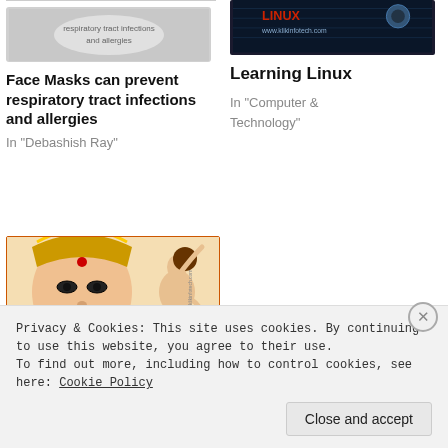[Figure (photo): Image of face mask related to respiratory tract infections and allergies]
Face Masks can prevent respiratory tract infections and allergies
In "Debashish Ray"
[Figure (photo): Learning Linux book/product cover with dark tech background, www.klikinfotech.com]
Learning Linux
In "Computer & Technology"
[Figure (photo): Chandika Devir Mahatto illustration - Durga deity artwork with orange banner caption]
Alpay Golpay Bishmartika / Bishwamuladhar Narayani (Chandika Devir Mahatto)
Privacy & Cookies: This site uses cookies. By continuing to use this website, you agree to their use.
To find out more, including how to control cookies, see here: Cookie Policy
Close and accept